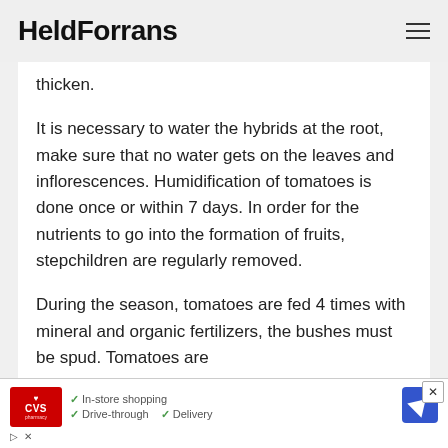HeldForrans
thicken.
It is necessary to water the hybrids at the root, make sure that no water gets on the leaves and inflorescences. Humidification of tomatoes is done once or within 7 days. In order for the nutrients to go into the formation of fruits, stepchildren are regularly removed.
During the season, tomatoes are fed 4 times with mineral and organic fertilizers, the bushes must be spud. Tomatoes are
[Figure (screenshot): CVS Pharmacy advertisement banner showing CVS logo with heart, checkmarks for In-store shopping, Drive-through, and Delivery services, and a navigation arrow icon]